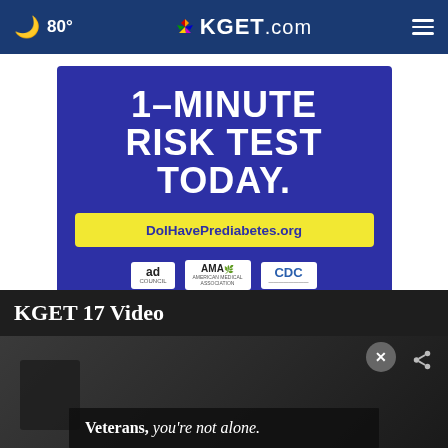80° KGET.com
[Figure (infographic): Advertisement banner: '1-MINUTE RISK TEST TODAY. DoIHavePrediabetes.org' with Ad Council, AMA American Medical Association, and CDC logos on dark blue background]
KGET 17 Video
[Figure (screenshot): Video player area with dark background showing a person, with a bottom overlay ad reading 'Veterans, you're not alone.' and a close (X) button and share button]
Veterans, you're not alone.